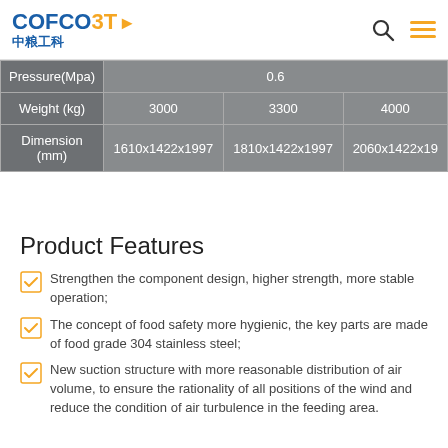COFCO 3T 中粮工科
|  | Col1 | Col2 | Col3 |
| --- | --- | --- | --- |
| Pressure(Mpa) | 0.6 |  |  |
| Weight (kg) | 3000 | 3300 | 4000 |
| Dimension (mm) | 1610x1422x1997 | 1810x1422x1997 | 2060x1422x19... |
Product Features
Strengthen the component design, higher strength, more stable operation;
The concept of food safety more hygienic, the key parts are made of food grade 304 stainless steel;
New suction structure with more reasonable distribution of air volume, to ensure the rationality of all positions of the wind and reduce the condition of air turbulence in the feeding area.